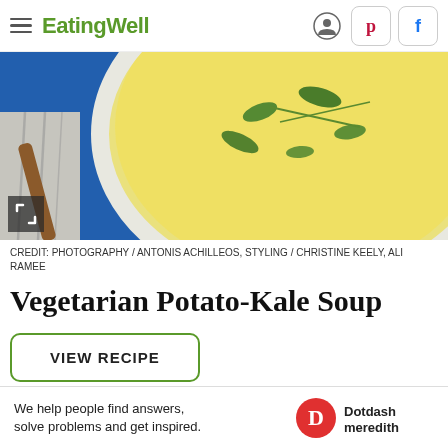EatingWell
[Figure (photo): Bowl of creamy potato-kale soup with herbs on a blue cloth background]
CREDIT: PHOTOGRAPHY / ANTONIS ACHILLEOS, STYLING / CHRISTINE KEELY, ALI RAMEE
Vegetarian Potato-Kale Soup
VIEW RECIPE
This potato-kale soup has a rich, yet light and velvety... atoes